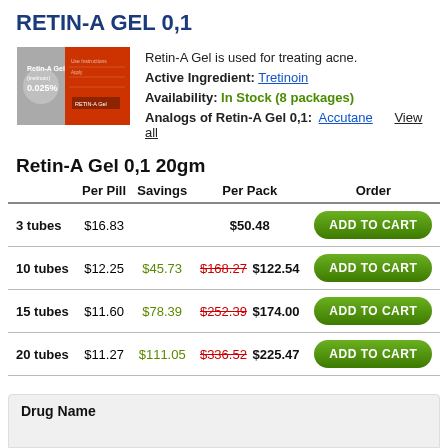RETIN-A GEL 0,1
Retin-A Gel is used for treating acne.
Active Ingredient: Tretinoin
Availability: In Stock (8 packages)
Analogs of Retin-A Gel 0,1: Accutane   View all
[Figure (photo): Product box image of Retin-A Gel (tretinoin) 0.025% with orange/red and grey packaging]
Retin-A Gel 0,1 20gm
|  | Per Pill | Savings | Per Pack | Order |
| --- | --- | --- | --- | --- |
| 3 tubes | $16.83 |  | $50.48 | ADD TO CART |
| 10 tubes | $12.25 | $45.73 | $168.27 $122.54 | ADD TO CART |
| 15 tubes | $11.60 | $78.39 | $252.39 $174.00 | ADD TO CART |
| 20 tubes | $11.27 | $111.05 | $336.52 $225.47 | ADD TO CART |
Drug Name